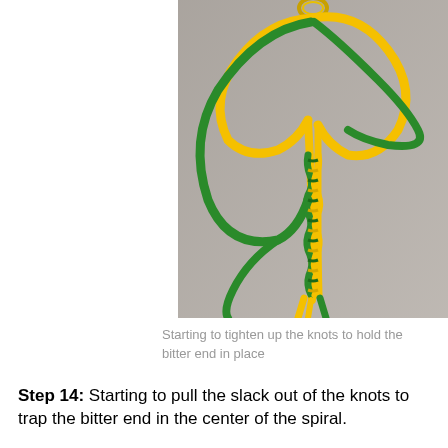[Figure (photo): Photo of green and yellow paracord/lanyard knot work in progress, showing spiral knot being tightened, with a gold ring at the top and loose cord ends dangling below, on a grey background.]
Starting to tighten up the knots to hold the bitter end in place
Step 14: Starting to pull the slack out of the knots to trap the bitter end in the center of the spiral.
Pull these down snug.